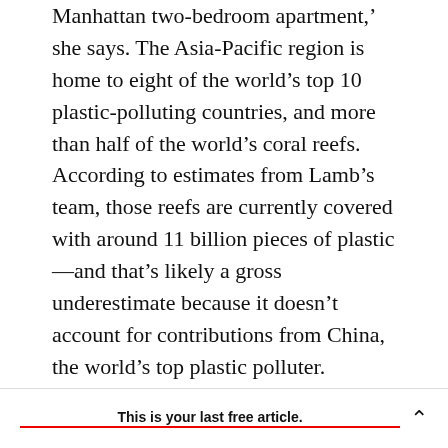Manhattan two-bedroom apartment,' she says. The Asia-Pacific region is home to eight of the world's top 10 plastic-polluting countries, and more than half of the world's coral reefs. According to estimates from Lamb's team, those reefs are currently covered with around 11 billion pieces of plastic—and that's likely a gross underestimate because it doesn't account for contributions from China, the world's top plastic polluter.
This problem is only going to get worse. Half of all the plastic that has ever existed was made in just the last 13 years, and production is still accelerating.
This is your last free article.